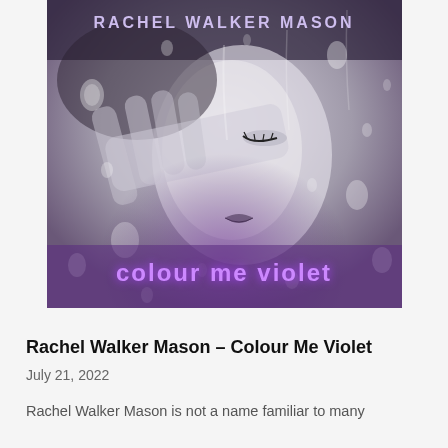[Figure (illustration): Album cover art for 'Colour Me Violet' by Rachel Walker Mason. Black and white photo of a woman with closed eyes, face partially obscured by a hand, with water droplets on glass in the foreground. Text at top reads 'RACHEL WALKER MASON' in white/purple lettering, and at the bottom 'colour me violet' in purple glowing text.]
Rachel Walker Mason – Colour Me Violet
July 21, 2022
Rachel Walker Mason is not a name familiar to many